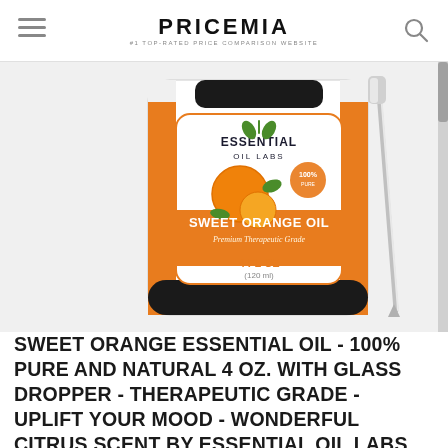PRICEMIA #1 TOP-RATED PRICE COMPARISON WEBSITE
[Figure (photo): Essential Oil Labs Sweet Orange Oil bottle (4 FL OZ / 120ml), Premium Therapeutic Grade, with a glass dropper beside it. Orange and white label with orange fruit imagery.]
SWEET ORANGE ESSENTIAL OIL - 100% PURE AND NATURAL 4 OZ. WITH GLASS DROPPER - THERAPEUTIC GRADE - UPLIFT YOUR MOOD - WONDERFUL CITRUS SCENT BY ESSENTIAL OIL LABS